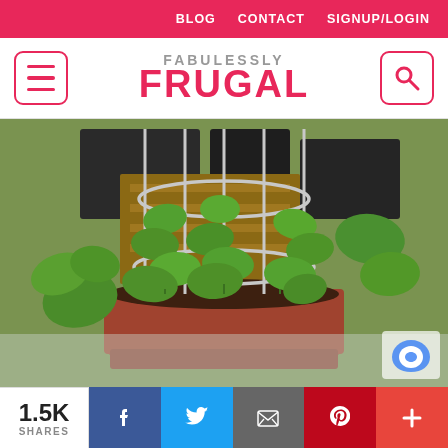BLOG  CONTACT  SIGNUP/LOGIN
[Figure (logo): Fabulessly Frugal logo with hamburger menu button on left and search button on right]
[Figure (photo): Green pea plants growing in a red pot with a wire tomato cage/support, placed in what appears to be a greenhouse or garden shed setting]
1.5K SHARES